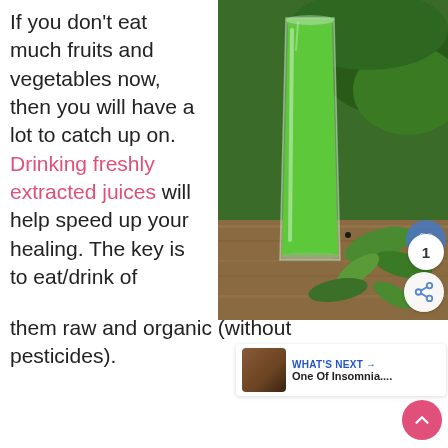If you don't eat much fruits and vegetables now, then you will have a lot to catch up on. Drinking freshly extracted juices will help speed up your healing. The key is to eat/drink of them raw and organic (without pesticides).
[Figure (photo): A tall glass of bright green juice surrounded by fresh green leaves and herbs on a wooden surface]